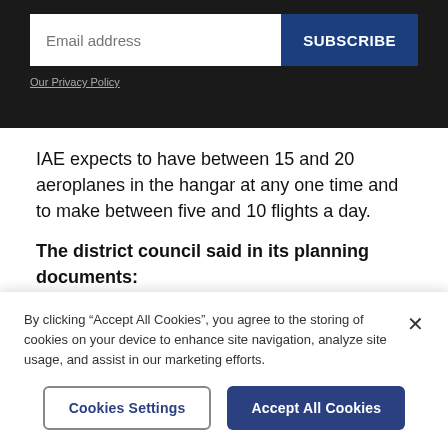[Figure (screenshot): Email subscription form with email address input field and blue SUBSCRIBE button on dark background, with Our Privacy Policy link below]
IAE expects to have between 15 and 20 aeroplanes in the hangar at any one time and to make between five and 10 flights a day.
The district council said in its planning documents:
By clicking “Accept All Cookies”, you agree to the storing of cookies on your device to enhance site navigation, analyze site usage, and assist in our marketing efforts.
Cookies Settings | Accept All Cookies